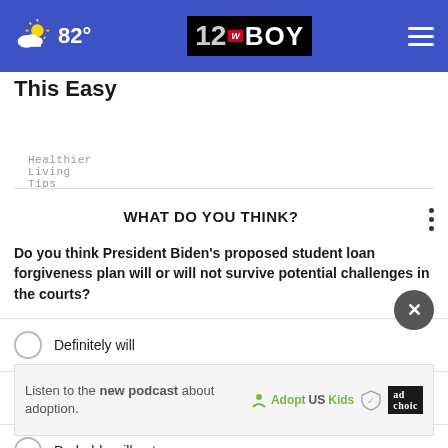12WBOY — 82°
This Easy
Healthier Living Tips
WHAT DO YOU THINK?
Do you think President Biden's proposed student loan forgiveness plan will or will not survive potential challenges in the courts?
Definitely will
Probably will
Probably will not
Listen to the new podcast about adoption.